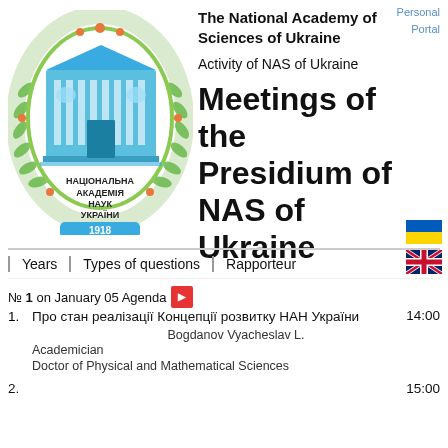Personal
Portal
[Figure (logo): National Academy of Sciences of Ukraine seal/logo with НАЦІОНАЛЬНА АКАДЕМІЯ НАУК УКРАЇНИ and year 1918, featuring a blue building with green laurel wreath border]
The National Academy of Sciences of Ukraine
Activity of NAS of Ukraine
Meetings of the Presidium of NAS of Ukraine
[Figure (illustration): Ukrainian flag (blue and yellow horizontal stripes) and UK flag icons]
Years | Types of questions | Rapporteur
№ 1  on  January 05  Agenda
1.  Про стан реалізації Концепції розвитку НАН України    14:00
Bogdanov Vyacheslav L.
Academician
Doctor of Physical and Mathematical Sciences